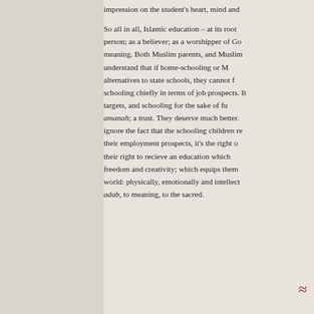impression on the student's heart, mind and

So all in all, Islamic education – at its root person; as a believer; as a worshipper of Go meaning. Both Muslim parents, and Muslim understand that if home-schooling or M alternatives to state schools, they cannot f schooling chiefly in terms of job prospects. It targets, and schooling for the sake of fu amanah; a trust. They deserve much better. ignore the fact that the schooling children r their employment prospects, it's the right o their right to recieve an education which freedom and creativity; which equips them world: physically, emotionally and intellect adab, to meaning, to the sacred.